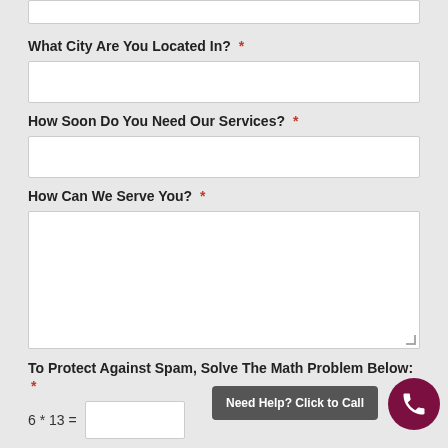What City Are You Located In? *
How Soon Do You Need Our Services? *
How Can We Serve You? *
To Protect Against Spam, Solve The Math Problem Below: *
6 * 13 =
Need Help? Click to Call